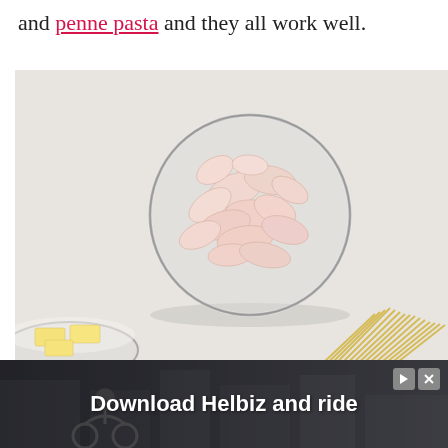and penne pasta and they all work well.
[Figure (photo): Overhead view of a glass bowl filled with raw shrimp, a smaller bowl with butter pats, and dry spaghetti pasta strands on a white surface.]
[Figure (infographic): Advertisement banner: 'Download Helbiz and ride' with play and close buttons in top right.]